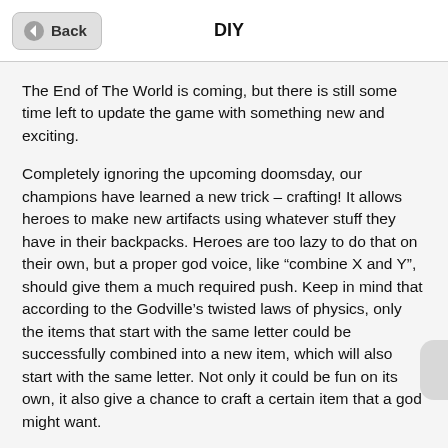Back | DIY
The End of The World is coming, but there is still some time left to update the game with something new and exciting.
Completely ignoring the upcoming doomsday, our champions have learned a new trick – crafting! It allows heroes to make new artifacts using whatever stuff they have in their backpacks. Heroes are too lazy to do that on their own, but a proper god voice, like “combine X and Y”, should give them a much required push. Keep in mind that according to the Godville’s twisted laws of physics, only the items that start with the same letter could be successfully combined into a new item, which will also start with the same letter. Not only it could be fun on its own, it also give a chance to craft a certain item that a god might want.
As the winter makes its way into the heroes’ quests and divine land of …